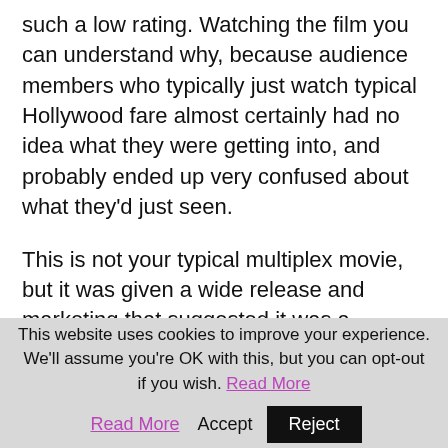such a low rating. Watching the film you can understand why, because audience members who typically just watch typical Hollywood fare almost certainly had no idea what they were getting into, and probably ended up very confused about what they'd just seen.
This is not your typical multiplex movie, but it was given a wide release and marketing that suggested it was a relatively mainstream-style horror flick. What it really is though is an auteur-fuelled, rather experimental arthouse movie, filled with allegory and surreal, Bunuel-esque touches, but done on a big
This website uses cookies to improve your experience. We'll assume you're OK with this, but you can opt-out if you wish. Read More Accept Reject